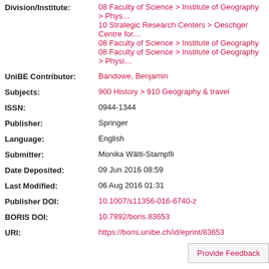Division/Institute: 08 Faculty of Science > Institute of Geography > Phys... | 10 Strategic Research Centers > Oeschger Centre for... | 08 Faculty of Science > Institute of Geography | 08 Faculty of Science > Institute of Geography > Physi...
UniBE Contributor: Bandowe, Benjamin
Subjects: 900 History > 910 Geography & travel
ISSN: 0944-1344
Publisher: Springer
Language: English
Submitter: Monika Wälti-Stampfli
Date Deposited: 09 Jun 2016 08:59
Last Modified: 06 Aug 2016 01:31
Publisher DOI: 10.1007/s11356-016-6740-z
BORIS DOI: 10.7892/boris.83653
URI: https://boris.unibe.ch/id/eprint/83653